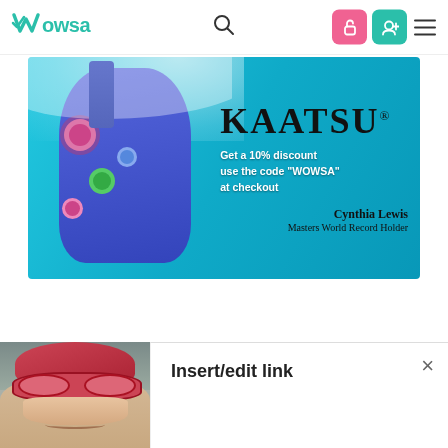WOWSA — navigation bar with logo, search icon, pink lock button, teal add-user button, hamburger menu
[Figure (photo): KAATSU promotional banner advertisement. Shows a swimmer in a floral swimsuit underwater in a blue pool. Text reads: KAATSU — Get a 10% discount use the code "WOWSA" at checkout — Cynthia Lewis, Masters World Record Holder]
[Figure (photo): Photo of a woman wearing pink swim goggles and a pink/red swim cap, smiling, photographed outdoors near water]
Insert/edit link